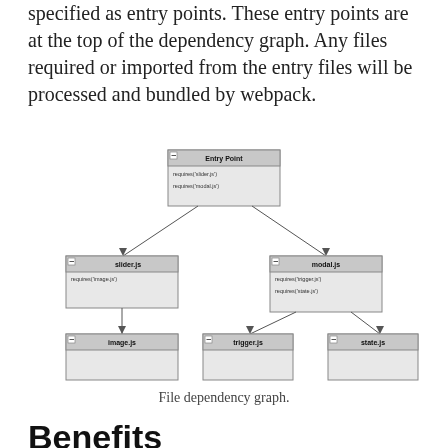specified as entry points. These entry points are at the top of the dependency graph. Any files required or imported from the entry files will be processed and bundled by webpack.
[Figure (flowchart): File dependency graph showing Entry Point at top, connecting to slider.js and modal.js, slider.js connects to image.js, modal.js connects to trigger.js and state.js. Each node is a UML-style class box with method calls listed.]
File dependency graph.
Benefits